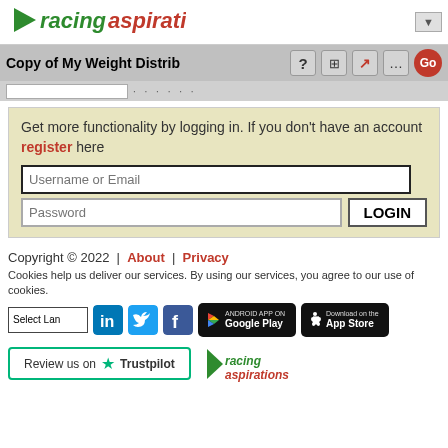[Figure (logo): Racing Aspirations logo with green flag icon, 'racing' in green italic and 'aspirations' in red italic]
Copy of My Weight Distrib
Get more functionality by logging in. If you don't have an account register here
Username or Email
Password
LOGIN
Copyright © 2022  |  About  |  Privacy
Cookies help us deliver our services. By using our services, you agree to our use of cookies.
[Figure (logo): LinkedIn, Twitter, Facebook social icons, Google Play badge, App Store badge]
[Figure (logo): Review us on Trustpilot button and Racing Aspirations logo]
Select Language dropdown